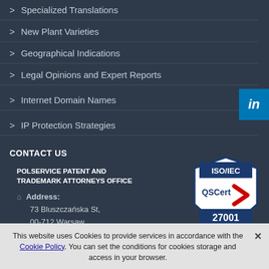> Specialized Translations
> New Plant Varieties
> Geographical Indications
> Legal Opinions and Expert Reports
> Internet Domain Names
> IP Protection Strategies
CONTACT US
POLSERVICE PATENT AND TRADEMARK ATTORNEYS OFFICE
[Figure (logo): ISO/IEC QSCert 27001 certification badge with red and blue design]
Address:
73 Bluszczańska St,
00-712 Warsaw
Poland
[Figure (logo): LinkedIn logo badge in blue]
This website uses Cookies to provide services in accordance with the Cookie Policy. You can set the conditions for cookies storage and access in your browser.